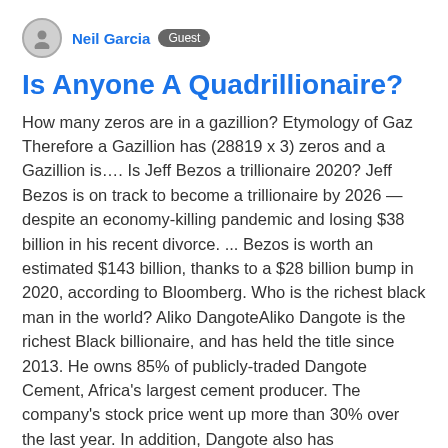Neil Garcia  Guest
Is Anyone A Quadrillionaire?
How many zeros are in a gazillion? Etymology of Gaz Therefore a Gazillion has (28819 x 3) zeros and a Gazillion is…. Is Jeff Bezos a trillionaire 2020? Jeff Bezos is on track to become a trillionaire by 2026 — despite an economy-killing pandemic and losing $38 billion in his recent divorce. ... Bezos is worth an estimated $143 billion, thanks to a $28 billion bump in 2020, according to Bloomberg. Who is the richest black man in the world? Aliko DangoteAliko Dangote is the richest Black billionaire, and has held the title since 2013. He owns 85% of publicly-traded Dangote Cement, Africa's largest cement producer. The company's stock price went up more than 30% over the last year. In addition, Dangote also has